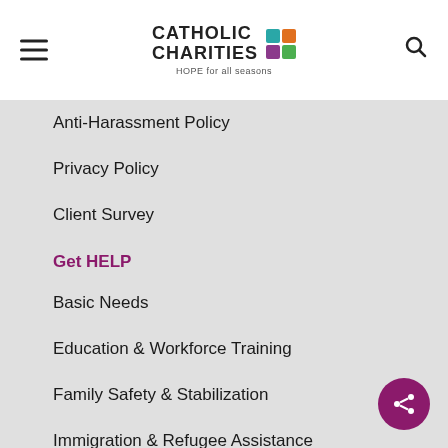[Figure (logo): Catholic Charities logo with colorful tile grid and tagline 'HOPE for all seasons']
Anti-Harassment Policy
Privacy Policy
Client Survey
Get HELP
Basic Needs
Education & Workforce Training
Family Safety & Stabilization
Immigration & Refugee Assistance
In-School Counseling & Support